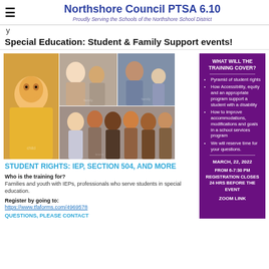Northshore Council PTSA 6.10 — Proudly Serving the Schools of the Northshore School District
Special Education: Student & Family Support events!
[Figure (photo): Photo collage of diverse families and youth including young children and teenagers smiling]
STUDENT RIGHTS: IEP, SECTION 504, AND MORE
Who is the training for? Families and youth with IEPs, professionals who serve students in special education.
Register by going to: https://www.tfaforms.com/4969578
QUESTIONS, PLEASE CONTACT
WHAT WILL THE TRAINING COVER?
Pyramid of student rights
How Accessibility, equity and an appropriate program support a student with a disability
How to improve accommodations, modifications and goals in a school services program
We will reserve time for your questions.
MARCH, 22, 2022
FROM 6-7:30 PM REGISTRATION CLOSES 24 HRS BEFORE THE EVENT
ZOOM LINK